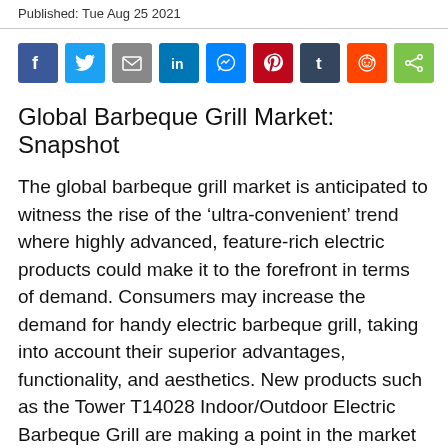Published: Tue Aug 25 2021
[Figure (other): Row of social media share buttons: Facebook, Twitter, Email, LinkedIn, Messenger, Pinterest, Tumblr, Reddit, Share]
Global Barbeque Grill Market: Snapshot
The global barbeque grill market is anticipated to witness the rise of the ‘ultra-convenient’ trend where highly advanced, feature-rich electric products could make it to the forefront in terms of demand. Consumers may increase the demand for handy electric barbeque grill, taking into account their superior advantages, functionality, and aesthetics. New products such as the Tower T14028 Indoor/Outdoor Electric Barbeque Grill are making a point in the market with their strong demand. These